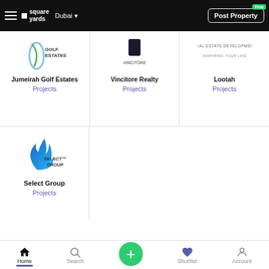square yards | Dubai | Post Property
[Figure (logo): Jumeirah Golf Estates logo]
Jumeirah Golf Estates
Projects
[Figure (logo): Vincitore Realty logo]
Vincitore Realty
Projects
[Figure (logo): Lootah Real Estate Development logo]
Lootah
Projects
[Figure (logo): Select Group logo]
Select Group
Projects
Home | Search | + | Shortlist | Account